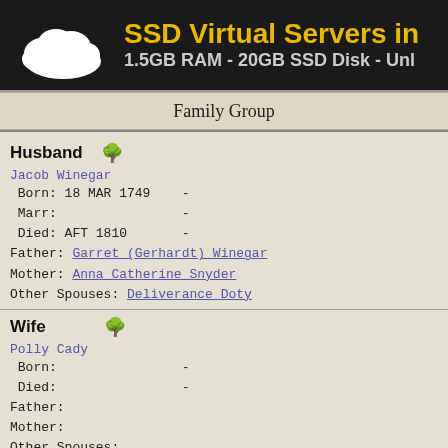[Figure (other): Banner with cloud logo and text: SSD Virtual Servers in ... 1.5GB RAM - 20GB SSD Disk - Unl...]
Family Group
Husband
Jacob Winegar
 Born: 18 MAR 1749    -
 Marr:               -
 Died: AFT 1810      -
Father: Garret (Gerhardt) Winegar
Mother: Anna Catherine Snyder
Other Spouses: Deliverance Doty
Wife
Polly Cady
 Born:               -
 Died:               -
Father:
Mother:
Other Spouses: